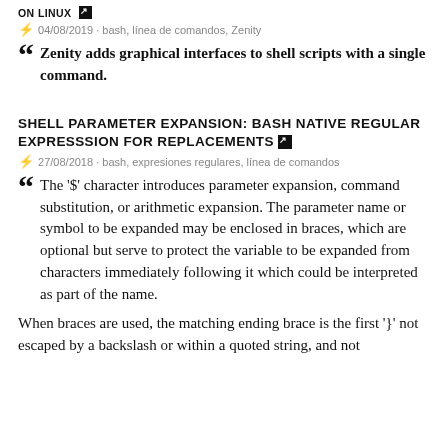ON LINUX ↗
⚡ 04/08/2019 · bash, línea de comandos, Zenity
Zenity adds graphical interfaces to shell scripts with a single command.
SHELL PARAMETER EXPANSION: BASH NATIVE REGULAR EXPRESSSION FOR REPLACEMENTS ↗
⚡ 27/08/2018 · bash, expresiones regulares, línea de comandos
The '$' character introduces parameter expansion, command substitution, or arithmetic expansion. The parameter name or symbol to be expanded may be enclosed in braces, which are optional but serve to protect the variable to be expanded from characters immediately following it which could be interpreted as part of the name.
When braces are used, the matching ending brace is the first '}' not escaped by a backslash or within a quoted string, and not